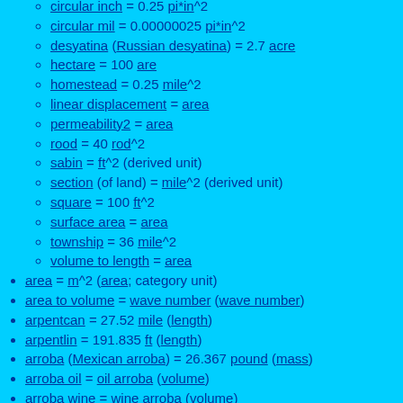circular inch = 0.25 pi*in^2
circular mil = 0.00000025 pi*in^2
desyatina (Russian desyatina) = 2.7 acre
hectare = 100 are
homestead = 0.25 mile^2
linear displacement = area
permeability2 = area
rood = 40 rod^2
sabin = ft^2 (derived unit)
section (of land) = mile^2 (derived unit)
square = 100 ft^2
surface area = area
township = 36 mile^2
volume to length = area
area = m^2 (area; category unit)
area to volume = wave number (wave number)
arpentcan = 27.52 mile (length)
arpentlin = 191.835 ft (length)
arroba (Mexican arroba) = 26.367 pound (mass)
arroba oil = oil arroba (volume)
arroba wine = wine arroba (volume)
as (Roman as) = 12 uncia (mass)
assay ton = 29.167 gram (mass)
astronomical unit = 149597871000 m*approx (length)
At = ampere turn (magnetic force)
AT = assay ton (mass)
at wt = atomic weight (force)
atm = atmosphere (pressure)
atmosphere = 101325 Pa (pressure)